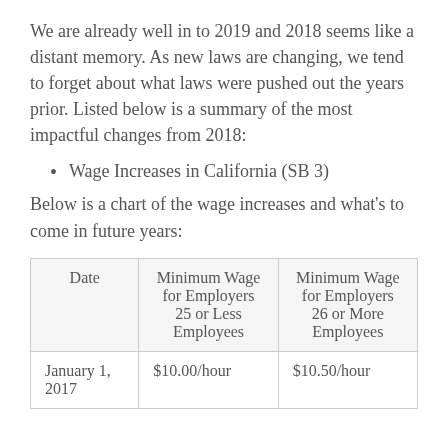We are already well in to 2019 and 2018 seems like a distant memory. As new laws are changing, we tend to forget about what laws were pushed out the years prior. Listed below is a summary of the most impactful changes from 2018:
Wage Increases in California (SB 3)
Below is a chart of the wage increases and what’s to come in future years:
| Date | Minimum Wage for Employers 25 or Less Employees | Minimum Wage for Employers 26 or More Employees |
| --- | --- | --- |
| January 1, 2017 | $10.00/hour | $10.50/hour |